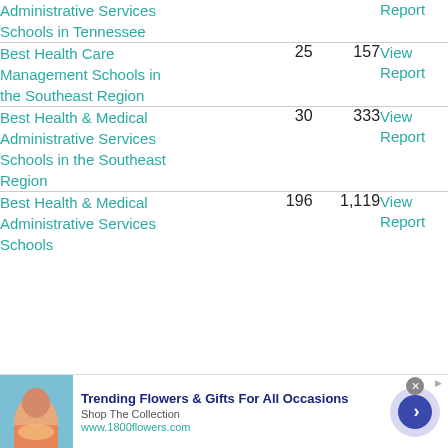| Report Name | Rank | Schools | Action |
| --- | --- | --- | --- |
| Best Health Care Management Administrative Services Schools in Tennessee |  |  | View Report |
| Best Health Care Management Schools in the Southeast Region | 25 | 157 | View Report |
| Best Health & Medical Administrative Services Schools in the Southeast Region | 30 | 333 | View Report |
| Best Health & Medical Administrative Services Schools | 196 | 1,119 | View Report |
[Figure (infographic): Advertisement banner for 1800flowers.com — Trending Flowers & Gifts For All Occasions. Shop The Collection. www.1800flowers.com. Shows a woman with flowers, a navigation arrow button, and a close button.]